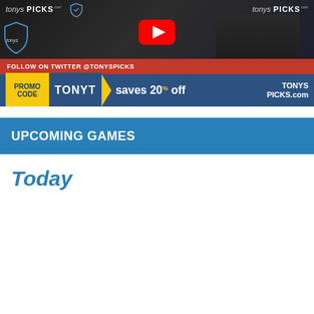[Figure (screenshot): YouTube video thumbnail for TonysPicks channel showing a man in a black shirt with branding logos. Contains a red YouTube play button, Twitter follow bar, and promo code bar reading TONYT saves 20% off TonysPicks.com]
UPCOMING GAMES
Today